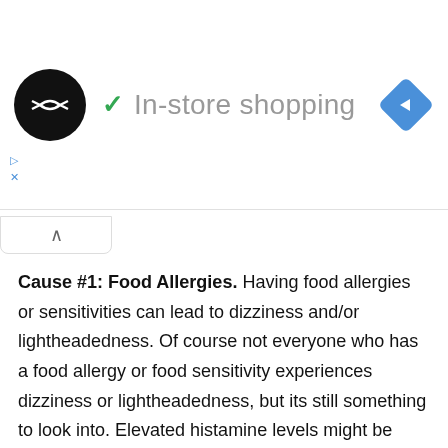[Figure (screenshot): Ad banner showing a circular logo with double arrow symbol, a green checkmark, and the text 'In-store shopping' in gray, with a blue navigation diamond icon on the right. Small play and close controls visible at lower left.]
Cause #1: Food Allergies. Having food allergies or sensitivities can lead to dizziness and/or lightheadedness. Of course not everyone who has a food allergy or food sensitivity experiences dizziness or lightheadedness, but its still something to look into. Elevated histamine levels might be responsible for the symptoms, and as a result, sometimes antihistamines are used .
Treatment options: Something called the canalith repositioning maneuver is commonly used to treat benign